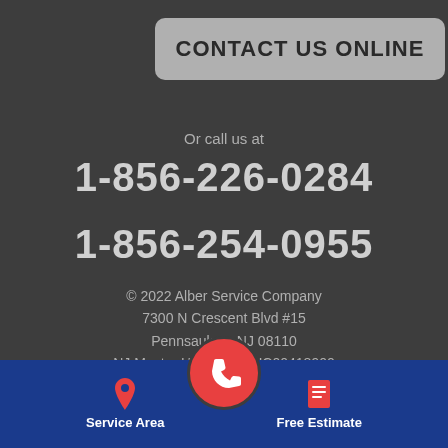CONTACT US ONLINE
Or call us at
1-856-226-0284
1-856-254-0955
© 2022 Alber Service Company
7300 N Crescent Blvd #15
Pennsauken, NJ 08110
NJ Master HVACR#19HC00418900
NJ Master Plumber Lic#36BI00231300
Service Area
Free Estimate